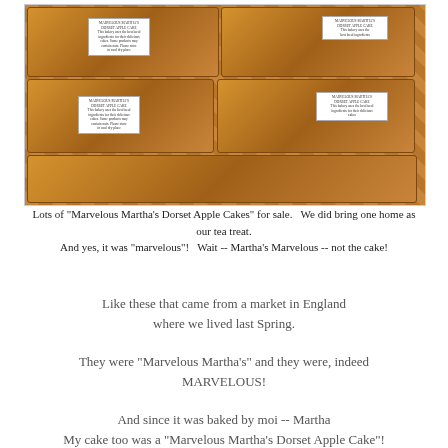[Figure (photo): Multiple packages of Marvelous Martha's Dorset Apple Cakes wrapped in clear plastic with printed labels, arranged on a surface at a market.]
Lots of "Marvelous Martha's Dorset Apple Cakes" for sale.   We did bring one home as our tea treat.
And yes, it was "marvelous"!   Wait -- Martha's Marvelous -- not the cake!
Like these that came from a market in England where we lived last Spring.
They were "Marvelous Martha's" and they were, indeed MARVELOUS!
And since it was baked by moi -- Martha My cake too was a "Marvelous Martha's Dorset Apple Cake"!
Served with